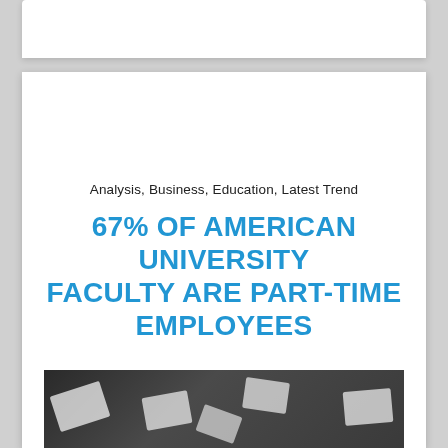Analysis, Business, Education, Latest Trend
67% OF AMERICAN UNIVERSITY FACULTY ARE PART-TIME EMPLOYEES
August 21, 2012
[Figure (photo): Overhead photo of a dark surface with rectangular bright light panels scattered across it]